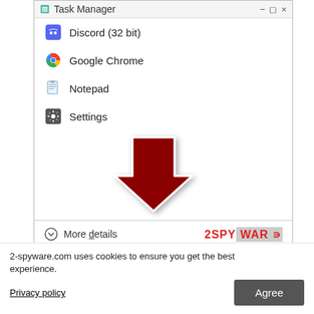[Figure (screenshot): Windows Task Manager window showing app list: Task Manager (title bar), Discord (32 bit), Google Chrome, Notepad, Settings. A large red arrow points downward-left. Bottom bar shows 'More details' with chevron icon and 2SPYWARE logo.]
2-spyware.com uses cookies to ensure you get the best experience.
section, and look
Privacy policy
Agree